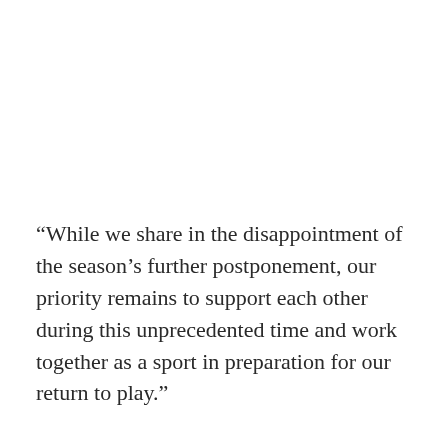“While we share in the disappointment of the season’s further postponement, our priority remains to support each other during this unprecedented time and work together as a sport in preparation for our return to play.”